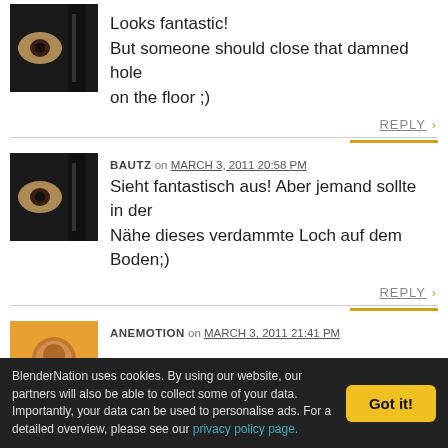Looks fantastic! But someone should close that damned hole on the floor ;)
BAUTZ on MARCH 3, 2011 20:58 PM
Sieht fantastisch aus! Aber jemand sollte in der Nähe dieses verdammte Loch auf dem Boden;)
ANEMOTION on MARCH 3, 2011 21:41 PM
BlenderNation uses cookies. By using our website, our partners will also be able to collect some of your data. Importantly, your data can be used to personalise ads. For a detailed overview, please see our privacy policy page.